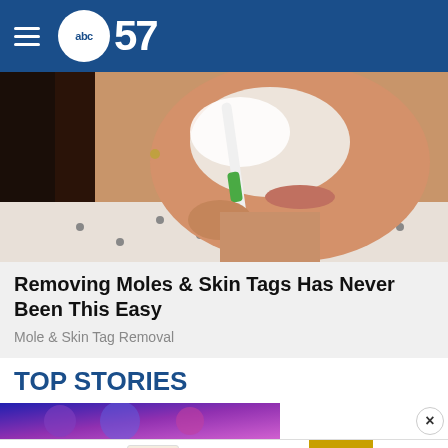abc57
[Figure (photo): Woman applying white cream/shaving cream to her face with a toothbrush or small brush, wearing a white patterned shirt, dark hair visible on left side.]
Removing Moles & Skin Tags Has Never Been This Easy
Mole & Skin Tag Removal
TOP STORIES
[Figure (photo): Partial view of a purple/blue glowing image at the bottom of the page.]
[Figure (other): Advertisement banner: 'The perfect gift' with food product imagery and '35% OFF + FREE SHIPPING' offer.]